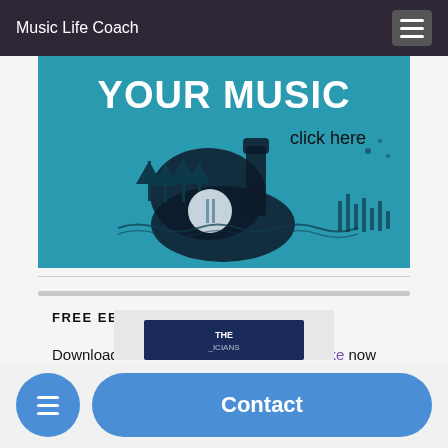Music Life Coach
[Figure (illustration): Teal/blue banner ad with text 'YOUR MUSIC click here' and a stylized guitar silhouette filled with trees and a moon reflection, on a teal background]
FREE EBOOK
Download The 10 Mistakes Musicians Make now
[Figure (illustration): Partially visible book cover for 'The 10 Mistakes Musicians Make' at the bottom of the page]
Contact